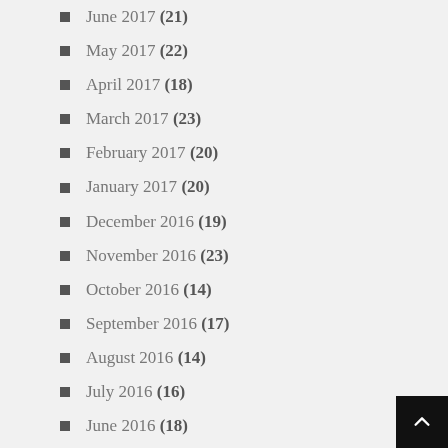June 2017 (21)
May 2017 (22)
April 2017 (18)
March 2017 (23)
February 2017 (20)
January 2017 (20)
December 2016 (19)
November 2016 (23)
October 2016 (14)
September 2016 (17)
August 2016 (14)
July 2016 (16)
June 2016 (18)
May 2016 (17)
April 2016 (24)
March 2016 (14)
February 2016 (19)